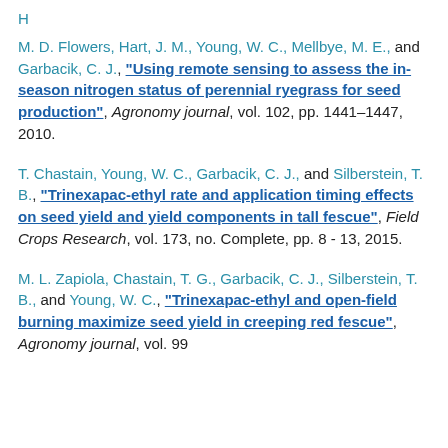M. D. Flowers, Hart, J. M., Young, W. C., Mellbye, M. E., and Garbacik, C. J., "Using remote sensing to assess the in-season nitrogen status of perennial ryegrass for seed production", Agronomy journal, vol. 102, pp. 1441–1447, 2010.
T. Chastain, Young, W. C., Garbacik, C. J., and Silberstein, T. B., "Trinexapac-ethyl rate and application timing effects on seed yield and yield components in tall fescue", Field Crops Research, vol. 173, no. Complete, pp. 8 - 13, 2015.
M. L. Zapiola, Chastain, T. G., Garbacik, C. J., Silberstein, T. B., and Young, W. C., "Trinexapac-ethyl and open-field burning maximize seed yield in creeping red fescue", Agronomy journal, vol. 99...